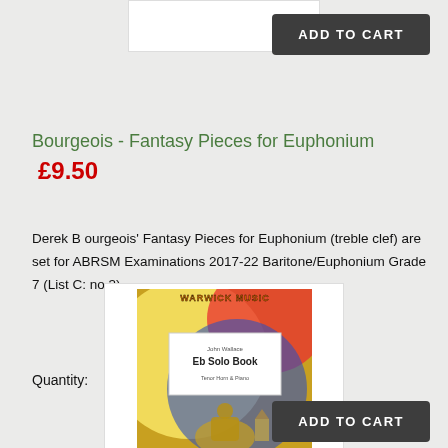[Figure (photo): White product image placeholder at top center]
ADD TO CART
Bourgeois - Fantasy Pieces for Euphonium
£9.50
Derek B ourgeois' Fantasy Pieces for Euphonium (treble clef) are set for ABRSM Examinations 2017-22 Baritone/Euphonium Grade 7 (List C: no.3)...
Quantity: 1
[Figure (photo): Book cover: Warwick Music - John Wallace Eb Solo Book, Tenor Horn & Piano, colorful abstract background with figure]
ADD TO CART